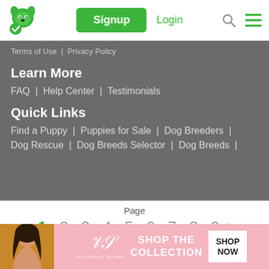[Figure (logo): Green dog/puppy logo icon with checkmark]
Signup
Login
Terms of Use  |  Privacy Policy
Learn More
FAQ  |  Help Center  |  Testimonials
Quick Links
Find a Puppy  |  Puppies for Sale  |  Dog Breeders  |
Dog Rescue  |  Dog Breeds Selector  |  Dog Breeds  |
Page
1  2  3  4  5  6  7  8  9  >
Items per page:  20  40  60
[Figure (photo): Victoria's Secret advertisement banner with woman and pink background. Text: SHOP THE COLLECTION. Button: SHOP NOW]